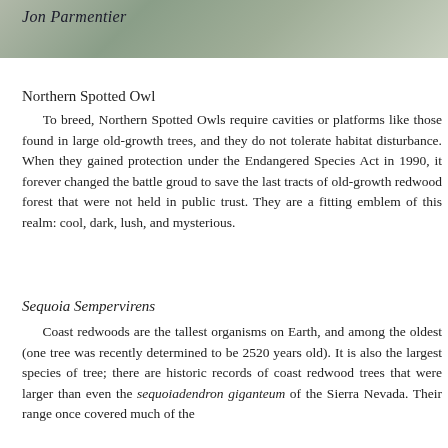[Figure (photo): Photograph strip with italic caption 'Jon Parmentier' overlaid on a nature/forest scene with muted green tones]
Jon Parmentier
Northern Spotted Owl
To breed, Northern Spotted Owls require cavities or platforms like those found in large old-growth trees, and they do not tolerate habitat disturbance. When they gained protection under the Endangered Species Act in 1990, it forever changed the battle groud to save the last tracts of old-growth redwood forest that were not held in public trust. They are a fitting emblem of this realm: cool, dark, lush, and mysterious.
Sequoia Sempervirens
Coast redwoods are the tallest organisms on Earth, and among the oldest (one tree was recently determined to be 2520 years old). It is also the largest species of tree; there are historic records of coast redwood trees that were larger than even the sequoiadendron giganteum of the Sierra Nevada. Their range once covered much of the